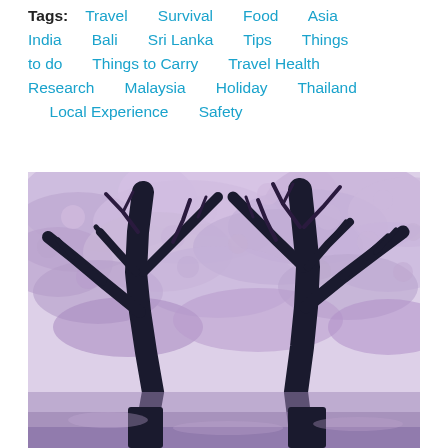Tags: Travel  Survival  Food  Asia  India  Bali  Sri Lanka  Tips  Things  to do  Things to Carry  Travel Health  Research  Malaysia  Holiday  Thailand  Local Experience  Safety
[Figure (photo): Photo of cherry blossom or jacaranda trees in bloom with purple/pink flowers, dark tree silhouettes against a light sky, viewed from below looking up through the canopy.]